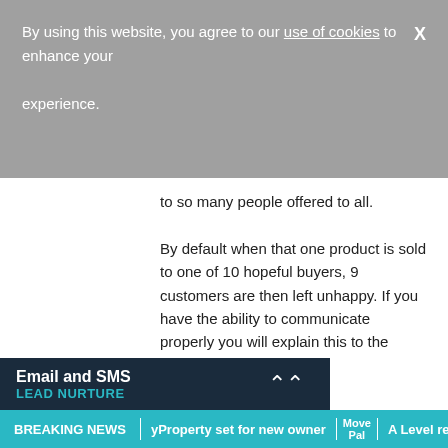By using this website, you agree to our use of cookies to enhance your experience.
to so many people offered to all.
By default when that one product is sold to one of 10 hopeful buyers, 9 customers are then left unhappy. If you have the ability to communicate properly you will explain this to the unlucky buyers in advance ensuring that they do not take it personally (and that you do not antagonise them with wrong advice along the way!). You can minimise risk as the estate agent, buy you can't minimise the number of unsuccessful buyers. If you offer support, advice and assistance however the stereotype may change (do we care ough if we're not examples of
Email and SMS
LEAD NURTURE
BREAKING NEWS | yProperty set for new owner | Move Pal | A Level results